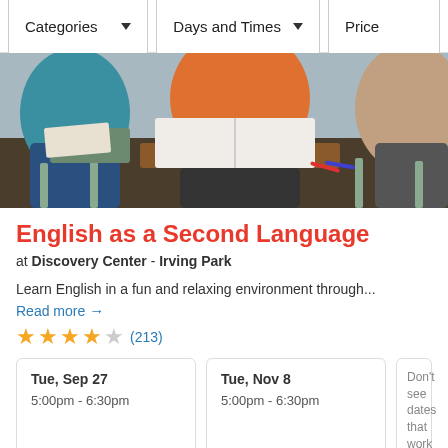Categories ▼   Days and Times ▼   Price
[Figure (photo): Students sitting at classroom desks with open books, viewed from the torso down. A student in an orange top is centered, another in blue teal on the left.]
English as a Second Language
at Discovery Center - Irving Park
Learn English in a fun and relaxing environment through...
Read more →
★★★★☆ (213)
Tue, Sep 27
5:00pm - 6:30pm
Tue, Nov 8
5:00pm - 6:30pm
Don't see dates that work for you?